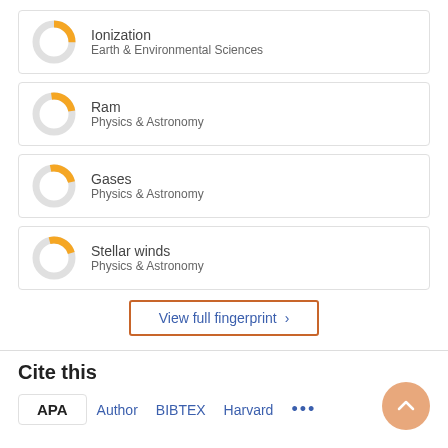Ionization
Earth & Environmental Sciences
Ram
Physics & Astronomy
Gases
Physics & Astronomy
Stellar winds
Physics & Astronomy
View full fingerprint >
Cite this
APA   Author   BIBTEX   Harvard   ...